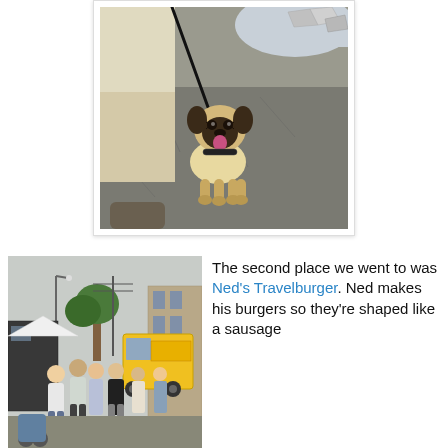[Figure (photo): A pug dog on a leash standing on a cracked pavement, looking up at camera with tongue out. A person in white shorts holds the leash. In the upper right corner there are items wrapped in aluminum foil on a white surface.]
[Figure (photo): An outdoor street food truck event with crowds of people standing around. A yellow food truck is visible in the background along with trees, power lines, and a brick building.]
The second place we went to was Ned's Travelburger. Ned makes his burgers so they're shaped like a sausage